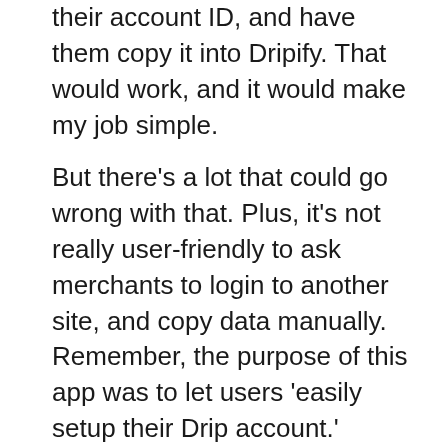their account ID, and have them copy it into Dripify. That would work, and it would make my job simple.
But there's a lot that could go wrong with that. Plus, it's not really user-friendly to ask merchants to login to another site, and copy data manually. Remember, the purpose of this app was to let users 'easily setup their Drip account.'
I decided to stick with my plan and try to do it automatically.
Like Shopify, Drip also uses OAuth to allow